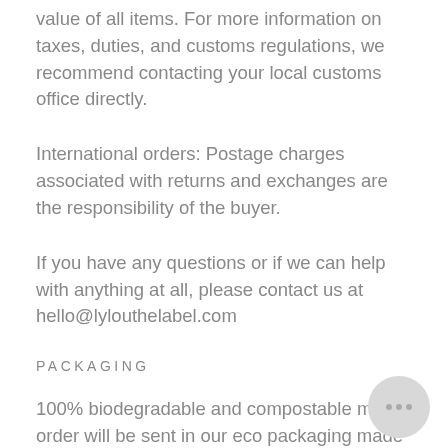value of all items. For more information on taxes, duties, and customs regulations, we recommend contacting your local customs office directly.
International orders: Postage charges associated with returns and exchanges are the responsibility of the buyer.
If you have any questions or if we can help with anything at all, please contact us at hello@lylouthelabel.com
PACKAGING
100% biodegradable and compostable mailer order will be sent in our eco packaging made from biodegradable materials, mainly corn starch and